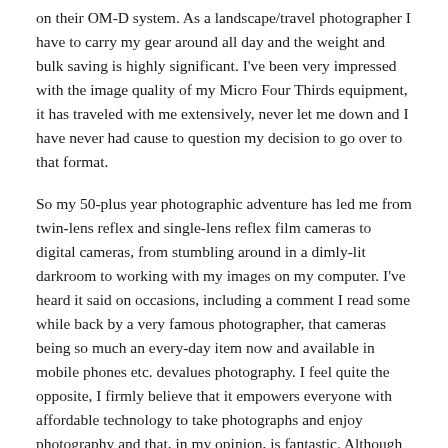on their OM-D system. As a landscape/travel photographer I have to carry my gear around all day and the weight and bulk saving is highly significant. I've been very impressed with the image quality of my Micro Four Thirds equipment, it has traveled with me extensively, never let me down and I have never had cause to question my decision to go over to that format.
So my 50-plus year photographic adventure has led me from twin-lens reflex and single-lens reflex film cameras to digital cameras, from stumbling around in a dimly-lit darkroom to working with my images on my computer. I've heard it said on occasions, including a comment I read some while back by a very famous photographer, that cameras being so much an every-day item now and available in mobile phones etc. devalues photography. I feel quite the opposite, I firmly believe that it empowers everyone with affordable technology to take photographs and enjoy photography and that, in my opinion, is fantastic. Although I've very much enjoyed my personal photographic journey I do confess to feeling a slight tinge of regret that the technology wasn't available when I started out but one can't put the clock back and I intend to keep on embracing all these great technological advancements,